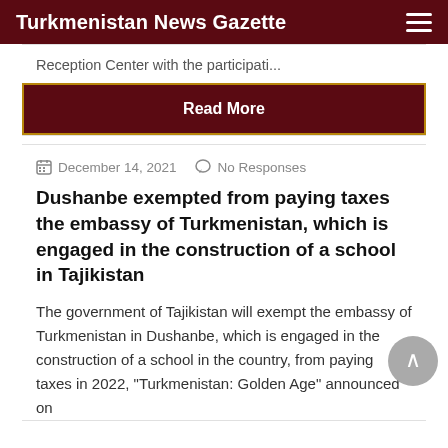Turkmenistan News Gazette
Reception Center with the participati...
Read More
December 14, 2021   No Responses
Dushanbe exempted from paying taxes the embassy of Turkmenistan, which is engaged in the construction of a school in Tajikistan
The government of Tajikistan will exempt the embassy of Turkmenistan in Dushanbe, which is engaged in the construction of a school in the country, from paying taxes in 2022, "Turkmenistan: Golden Age" announced on